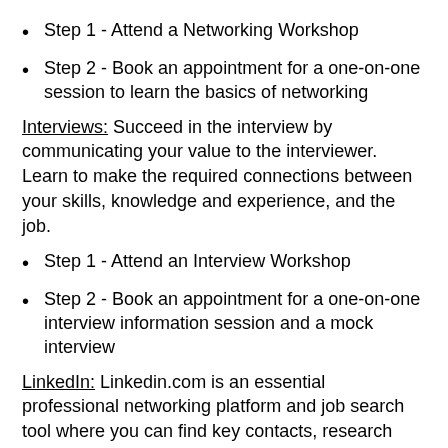Step 1 - Attend a Networking Workshop
Step 2 - Book an appointment for a one-on-one session to learn the basics of networking
Interviews: Succeed in the interview by communicating your value to the interviewer.  Learn to make the required connections between your skills, knowledge and experience, and the job.
Step 1 - Attend an Interview Workshop
Step 2 - Book an appointment for a one-on-one interview information session and a mock interview
LinkedIn: Linkedin.com is an essential professional networking platform and job search tool where you can find key contacts, research companies, locate